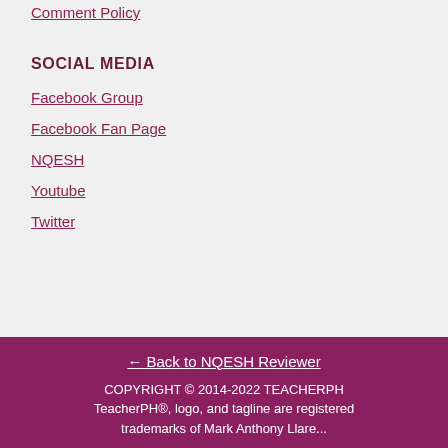Comment Policy
SOCIAL MEDIA
Facebook Group
Facebook Fan Page
NQESH
Youtube
Twitter
← Back to NQESH Reviewer
COPYRIGHT © 2014-2022 TEACHERPH
TeacherPH®, logo, and tagline are registered trademarks of Mark Anthony Llare...